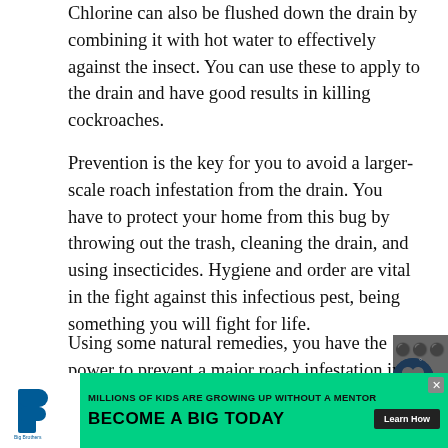Chlorine can also be flushed down the drain by combining it with hot water to effectively against the insect. You can use these to apply to the drain and have good results in killing cockroaches.
Prevention is the key for you to avoid a larger-scale roach infestation from the drain. You have to protect your home from this bug by throwing out the trash, cleaning the drain, and using insecticides. Hygiene and order are vital in the fight against this infectious pest, being something you will fight for life.
Using some natural remedies, you have the power to prevent a major roach infestation in the drain. These critters are annoying and dangerous to your health, you must act against them. Cockroaches can be easily
[Figure (other): Advertisement banner for Big Brothers Big Sisters: 'MILLIONS OF KIDS ARE GROWING UP WITHOUT A MENTOR. BECOME A BIG TODAY' with Learn How button. Dark background with green content area and organization logo.]